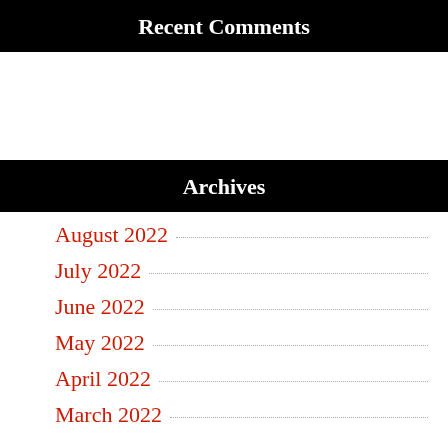Recent Comments
Archives
August 2022
July 2022
June 2022
May 2022
April 2022
March 2022